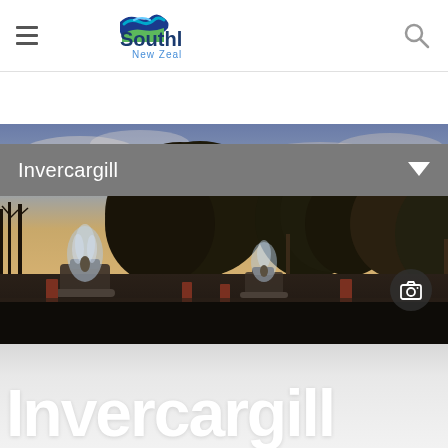Southland New Zealand – navigation bar with hamburger menu and search icon
Invercargill
[Figure (photo): Outdoor scene of Invercargill showing ornate water fountains in a park with large mature trees in the background and a dramatic twilight sky with clouds and warm sunset light.]
Invercargill